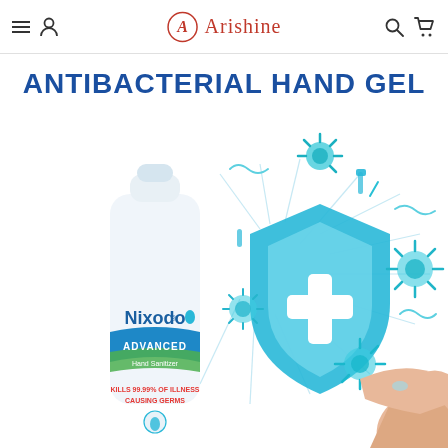Arishine - navigation header with menu, account, search, and cart icons
ANTIBACTERIAL HAND GEL
[Figure (photo): Product photo of Nixodo Advanced Hand Sanitizer bottle next to an illustration of a blue shield with a medical cross, surrounded by germs and bacteria icons, with hands applying sanitizer in the foreground.]